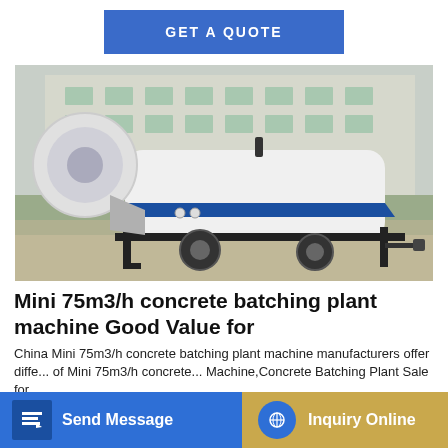GET A QUOTE
[Figure (photo): Photo of a mini concrete batching plant machine — white and blue trailer-mounted unit with mixer drum visible on the left, parked on gravel in front of a large light-colored building.]
Mini 75m3/h concrete batching plant machine Good Value for
China Mini 75m3/h concrete batching plant machine manufacturers offer diffe... of Mini 75m3/h concrete... Machine,Concrete Batching Plant Sale for ...